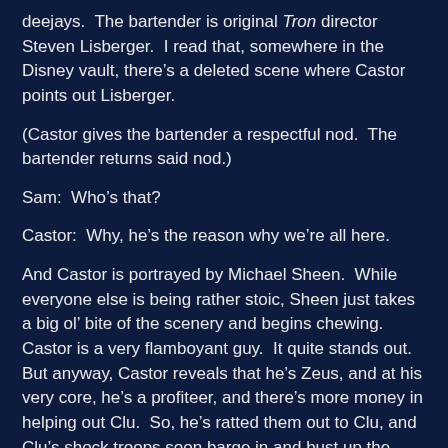deejays.  The bartender is original Tron director Steven Lisberger.  I read that, somewhere in the Disney vault, there's a deleted scene where Castor points out Lisberger.
(Castor gives the bartender a respectful nod.  The bartender returns said nod.)
Sam:  Who’s that?
Castor:  Why, he’s the reason why we’re all here.
And Castor is portrayed by Michael Sheen.  While everyone else is being rather stoic, Sheen just takes a big ol’ bite of the scenery and begins chewing.  Castor is a very flamboyant guy.  It quite stands out.  But anyway, Castor reveals that he’s Zeus, and at his very core, he’s a profiteer, and there’s more money in helping out Clu.  So, he’s ratted them out to Clu, and Clu’s shock troops soon barge in and bust up the place.  Flynn and Quorra show up to save Sam, but not before Castor manages to swipe Flynn’s identity disc.